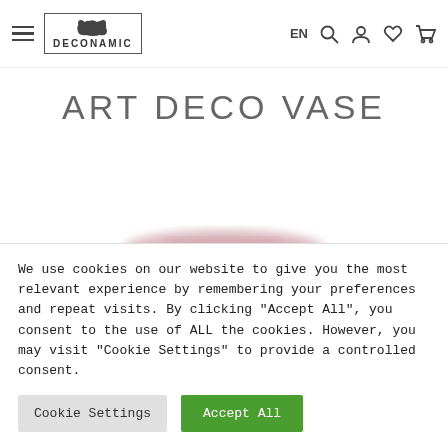DECONAMIC — EN navigation bar with hamburger menu, logo, language selector, search, account, wishlist, cart icons
ART DECO VASE
[Figure (photo): Partially visible blurred image of an art deco vase, pink/mauve tones, cropped at bottom of viewport]
We use cookies on our website to give you the most relevant experience by remembering your preferences and repeat visits. By clicking "Accept All", you consent to the use of ALL the cookies. However, you may visit "Cookie Settings" to provide a controlled consent.
Cookie Settings
Accept All